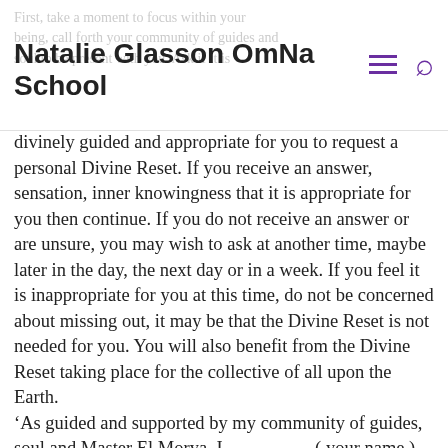Natalie Glasson OmNa School
divinely guided and appropriate for you to request a personal Divine Reset. If you receive an answer, sensation, inner knowingness that it is appropriate for you then continue. If you do not receive an answer or are unsure, you may wish to ask at another time, maybe later in the day, the next day or in a week. If you feel it is inappropriate for you at this time, do not be concerned about missing out, it may be that the Divine Reset is not needed for you. You will also benefit from the Divine Reset taking place for the collective of all upon the Earth. ‘As guided and supported by my community of guides, soul and Master El Morya, I……………( your name,) request for my highest good a Personal Divine Reset. I invite my Personal Divine Reset